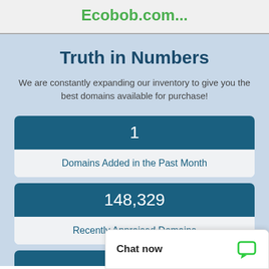Ecobob.com...
Truth in Numbers
We are constantly expanding our inventory to give you the best domains available for purchase!
1
Domains Added in the Past Month
148,329
Recently Appraised Domains
Chat now